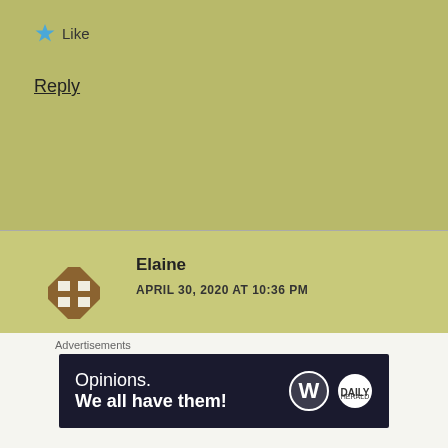★ Like
Reply
Elaine
APRIL 30, 2020 AT 10:36 PM
Oh no, please don't leave us hanging like this! Please!!!😨I found myself holding my breath as I read every word wondering what next for you and your family.
🙏 that you are ok.
Advertisements
Opinions. We all have them!